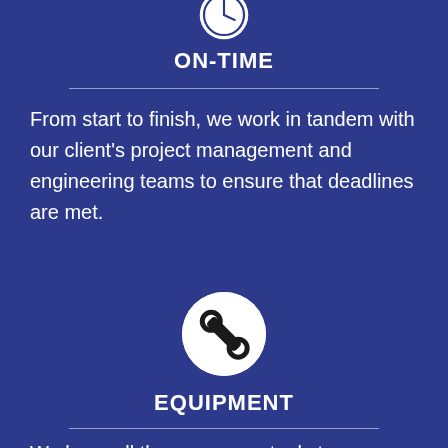[Figure (illustration): Partially visible white circle icon with clock at the very top of the page]
ON-TIME
From start to finish, we work in tandem with our client's project management and engineering teams to ensure that deadlines are met.
[Figure (illustration): White circle icon with a wrench/spanner tool symbol in dark color]
EQUIPMENT
We have all the necessary tools to serve heavy